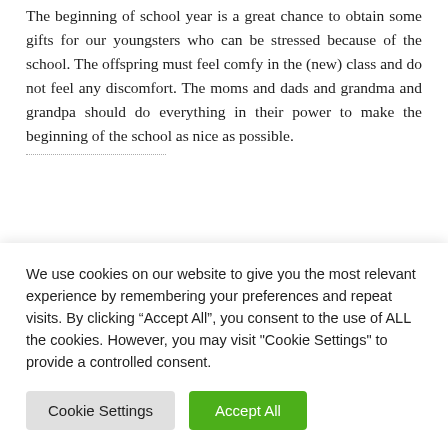The beginning of school year is a great chance to obtain some gifts for our youngsters who can be stressed because of the school. The offspring must feel comfy in the (new) class and do not feel any discomfort. The moms and dads and grandma and grandpa should do everything in their power to make the beginning of the school as nice as possible.
A perfect concept
[Figure (photo): A partially visible photograph or image banner next to a section heading]
We use cookies on our website to give you the most relevant experience by remembering your preferences and repeat visits. By clicking “Accept All”, you consent to the use of ALL the cookies. However, you may visit "Cookie Settings" to provide a controlled consent.